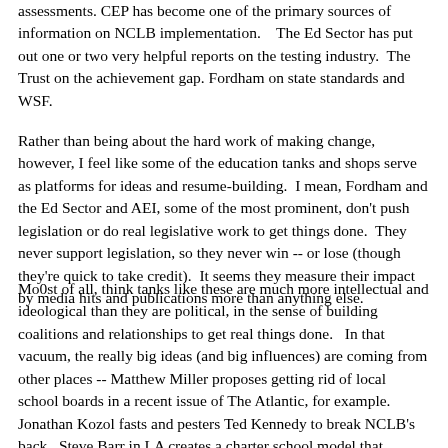assessments. CEP has become one of the primary sources of information on NCLB implementation.    The Ed Sector has put out one or two very helpful reports on the testing industry.  The Trust on the achievement gap. Fordham on state standards and WSF.
Rather than being about the hard work of making change, however, I feel like some of the education tanks and shops serve as platforms for ideas and resume-building.  I mean, Fordham and the Ed Sector and AEI, some of the most prominent, don't push legislation or do real legislative work to get things done.  They never support legislation, so they never win -- or lose (though they're quick to take credit).  It seems they measure their impact by media hits and publications more than anything else.
Mo0st of all, think tanks like these are much more intellectual and ideological than they are political, in the sense of building coalitions and relationships to get real things done.   In that vacuum, the really big ideas (and big influences) are coming from other places -- Matthew Miller proposes getting rid of local school boards in a recent issue of The Atlantic, for example.  Jonathan Kozol fasts and pesters Ted Kennedy to break NCLB's back.  Steve Barr in LA creates a charter school model that includes a union contract. The President proposes Pell Grants for kids.